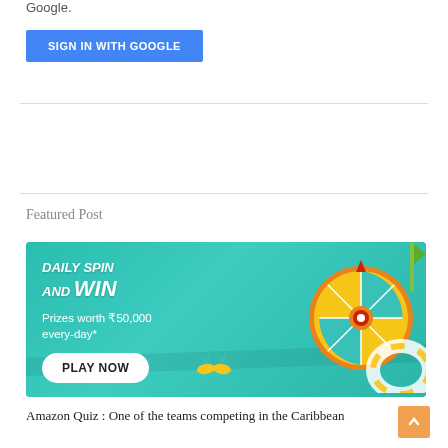Google.
SIGN IN WITH GOOGLE
Featured Post
[Figure (illustration): Daily Spin and Win advertisement banner with a colorful spin wheel, teal background, prizes worth ₹50,000 every-day text, and a Play Now button]
Amazon Quiz : One of the teams competing in the Caribbean